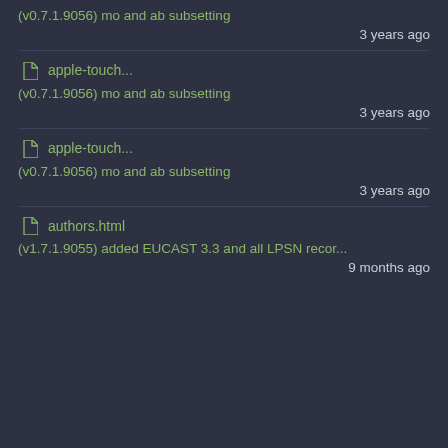(v0.7.1.9056) mo and ab subsetting
3 years ago
apple-touch...
(v0.7.1.9056) mo and ab subsetting
3 years ago
apple-touch...
(v0.7.1.9056) mo and ab subsetting
3 years ago
authors.html
(v1.7.1.9055) added EUCAST 3.3 and all LPSN recor...
9 months ago